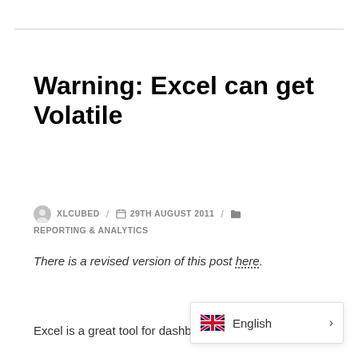Warning: Excel can get Volatile
XLCUBED / 29TH AUGUST 2011 / REPORTING & ANALYTICS
There is a revised version of this post here.
Excel is a great tool for dashboa